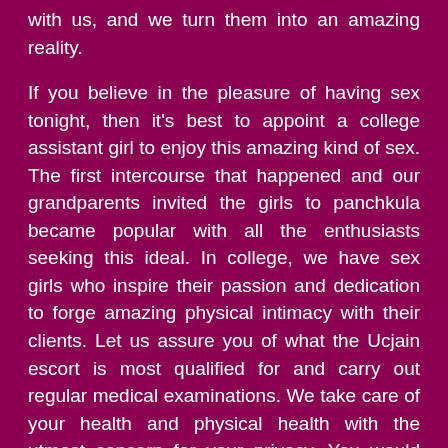with us, and we turn them into an amazing reality.
If you believe in the pleasure of having sex tonight, then it's best to appoint a college assistant girl to enjoy this amazing kind of sex. The first intercourse that happened and our grandparents invited the girls to panchkula became popular with all the enthusiasts seeking this ideal. In college, we have sex girls who inspire their passion and dedication to forge amazing physical intimacy with their clients. Let us assure you of what the Ucjain escort is most qualified for and carry out regular medical examinations. We take care of your health and physical health with the utmost concern for your privacy. You would like to know more about our privacy concerns by using our support team in panchkula.
Take a look at the extensive variety of options and choose the Top call